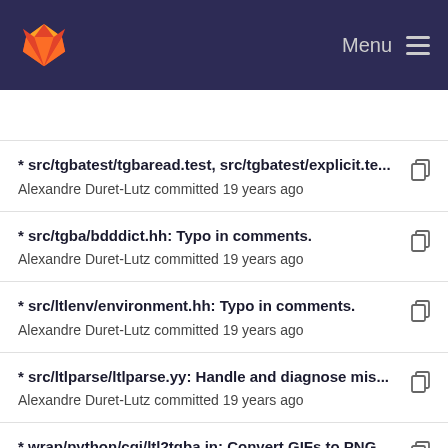GitLab — Menu
* src/tgbatest/tgbaread.test, src/tgbatest/explicit.te...
Alexandre Duret-Lutz committed 19 years ago
* src/tgba/bdddict.hh: Typo in comments.
Alexandre Duret-Lutz committed 19 years ago
* src/ltlenv/environment.hh: Typo in comments.
Alexandre Duret-Lutz committed 19 years ago
* src/ltlparse/ltlparse.yy: Handle and diagnose mis...
Alexandre Duret-Lutz committed 19 years ago
* wrap/python/cgi/ltl2tgba.in: Convert GIFs to PNG...
Alexandre Duret-Lutz committed 19 years ago